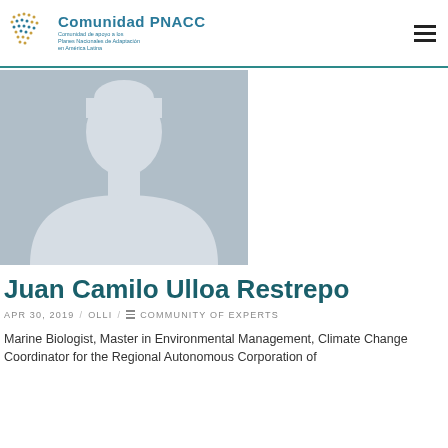Comunidad PNACC – Comunidad de apoyo a los Planes Nacionales de Adaptación en América Latina
[Figure (photo): Generic silhouette placeholder profile photo on a grey/blue background]
Juan Camilo Ulloa Restrepo
APR 30, 2019 / OLLI / COMMUNITY OF EXPERTS
Marine Biologist, Master in Environmental Management, Climate Change Coordinator for the Regional Autonomous Corporation of